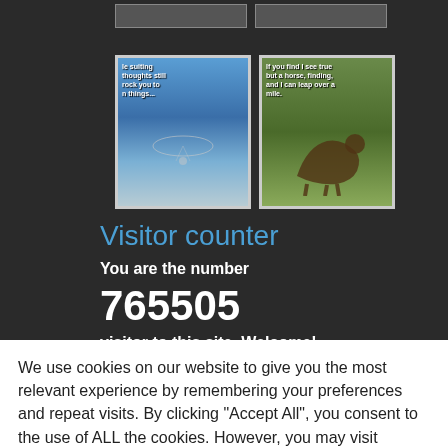[Figure (photo): Two thumbnail images at top on dark background - a paragliding/mountain scene and a wildlife/animal scene]
Visitor counter
You are the number
765505
visitor to this site. Welcome!
We use cookies on our website to give you the most relevant experience by remembering your preferences and repeat visits. By clicking "Accept All", you consent to the use of ALL the cookies. However, you may visit "Cookie Settings" to provide a controlled consent.